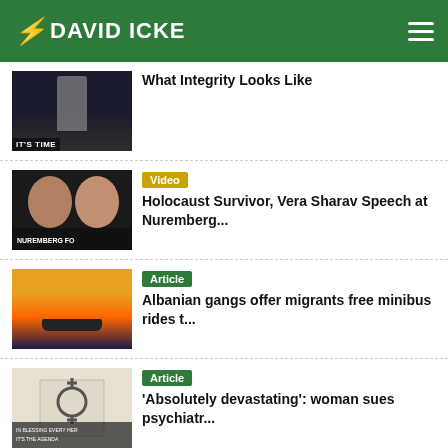DAVID ICKE
What Integrity Looks Like
Video
Holocaust Survivor, Vera Sharav Speech at Nuremberg...
Article
Albanian gangs offer migrants free minibus rides t...
Article
'Absolutely devastating': woman sues psychiatr...
Video
RFK Jr. Makes Huge Announcement In...